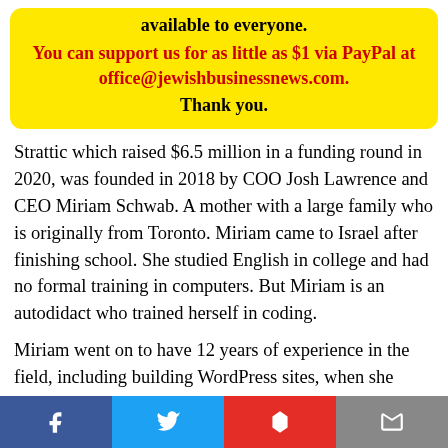available to everyone.
You can support us for as little as $1 via PayPal at office@jewishbusinessnews.com.
Thank you.
Strattic which raised $6.5 million in a funding round in 2020, was founded in 2018 by COO Josh Lawrence and CEO Miriam Schwab. A mother with a large family who is originally from Toronto. Miriam came to Israel after finishing school. She studied English in college and had no formal training in computers. But Miriam is an autodidact who trained herself in coding.
Miriam went on to have 12 years of experience in the field, including building WordPress sites, when she realized that WordPress comes with so many drawbacks, along with all of its benefits. So she grasped that there oves